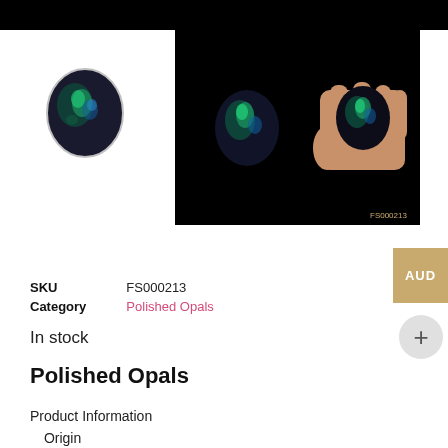[Figure (photo): Black opal gemstone thumbnail image showing dark blue-green iridescent stone on white background]
[Figure (photo): Main product image on black background showing two views of a black opal: one standalone and one held between fingers, with FS000213 watermark]
| SKU | FS000213 |
| Category | Polished Opals |
In stock
Polished Opals
Product Information
  Origin
  Field